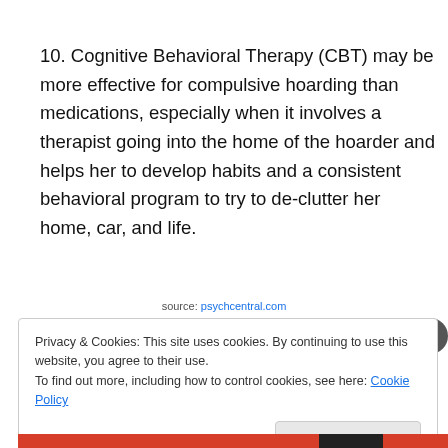10. Cognitive Behavioral Therapy (CBT) may be more effective for compulsive hoarding than medications, especially when it involves a therapist going into the home of the hoarder and helps her to develop habits and a consistent behavioral program to try to de-clutter her home, car, and life.
source: psychcentral.com
Privacy & Cookies: This site uses cookies. By continuing to use this website, you agree to their use. To find out more, including how to control cookies, see here: Cookie Policy